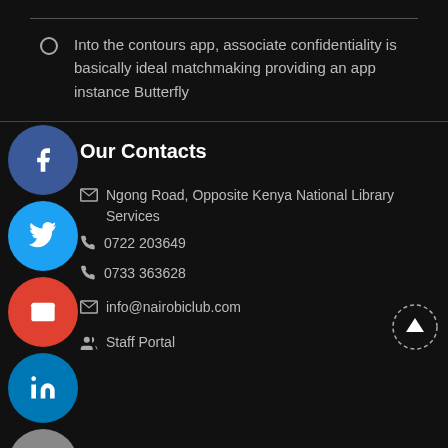Into the contours app, associate confidentiality is basically ideal matchmaking providing an app instance Butterfly
Our Contacts
Ngong Road, Opposite Kenya National Library Services
0722 203649
0733 363628
info@nairobiclub.com
Staff Portal